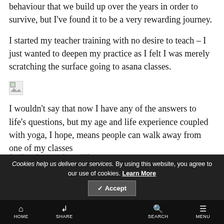behaviour that we build up over the years in order to survive, but I've found it to be a very rewarding journey.
I started my teacher training with no desire to teach – I just wanted to deepen my practice as I felt I was merely scratching the surface going to asana classes.
[Figure (other): Broken/missing image placeholder]
I wouldn't say that now I have any of the answers to life's questions, but my age and life experience coupled with yoga, I hope, means people can walk away from one of my classes feeling better about life.
Cookies help us deliver our services. By using this website, you agree to our use of cookies. Learn More
✓ Accept
HOME   SHARE   SEARCH   MENU